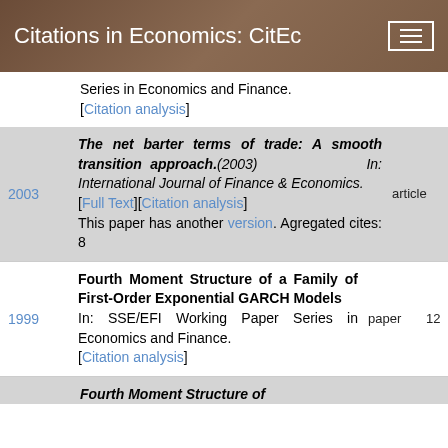Citations in Economics: CitEc
Series in Economics and Finance. [Citation analysis]
The net barter terms of trade: A smooth transition approach.(2003) In: International Journal of Finance & Economics. [Full Text][Citation analysis] This paper has another version. Agregated cites: 8
Fourth Moment Structure of a Family of First-Order Exponential GARCH Models In: SSE/EFI Working Paper Series in Economics and Finance. [Citation analysis]
Fourth Moment Structure of